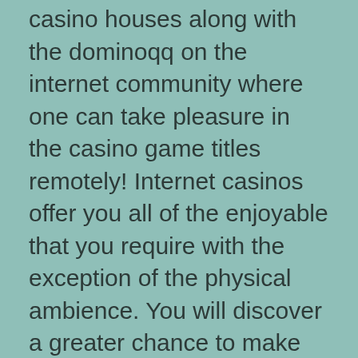casino houses along with the dominoqq on the internet community where one can take pleasure in the casino game titles remotely! Internet casinos offer you all of the enjoyable that you require with the exception of the physical ambience. You will discover a greater chance to make better money with internet gambling houses as compared to the bodily types because expenses are cheaper, and advantages and bonuses are more.
We are going to explore the additional bonuses in addition to their positive aspects over the following publish while in this post we are